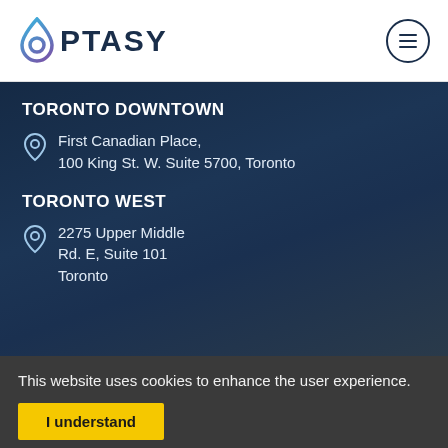OPTASY (logo with hamburger menu)
TORONTO DOWNTOWN
First Canadian Place, 100 King St. W. Suite 5700, Toronto
TORONTO WEST
2275 Upper Middle Rd. E, Suite 101 Toronto
This website uses cookies to enhance the user experience.
I understand